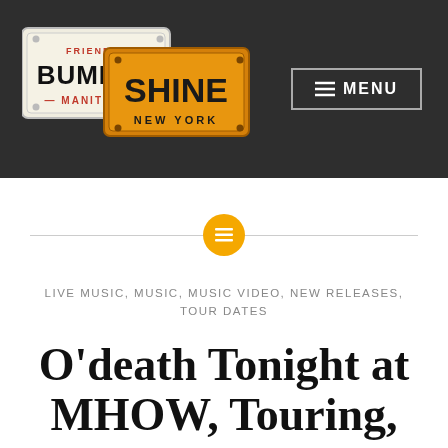[Figure (logo): Bumper Shine logo with two license plates: Manitoba (white plate, FRIENDLY BUMPER MANITOBA in red/black) and New York (orange plate, SHINE NEW YORK in dark text)]
[Figure (other): Menu button with hamburger icon lines and text MENU, bordered rectangle, white text on dark background]
[Figure (other): Horizontal divider line with centered yellow circular icon containing list/text lines symbol]
LIVE MUSIC, MUSIC, MUSIC VIDEO, NEW RELEASES, TOUR DATES
O'death Tonight at MHOW, Touring, New Album Out Now